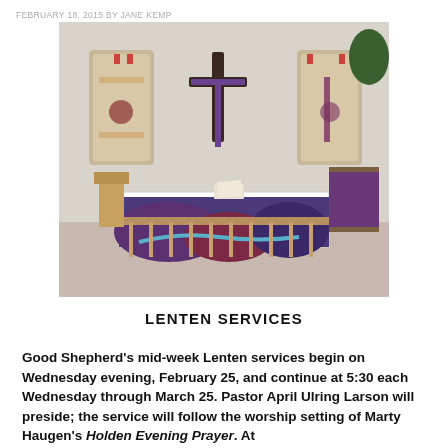FEBRUARY 18, 2015 BY JANE KEMP
[Figure (photo): Interior of a church sanctuary showing an altar with a purple and blue landscape tapestry frontal, a large wooden cross with a purple stole hanging on the wall above, and two decorative wall hangings on either side.]
LENTEN SERVICES
Good Shepherd's mid-week Lenten services begin on Wednesday evening, February 25, and continue at 5:30 each Wednesday through March 25. Pastor April Ulring Larson will preside; the service will follow the worship setting of Marty Haugen's Holden Evening Prayer. At